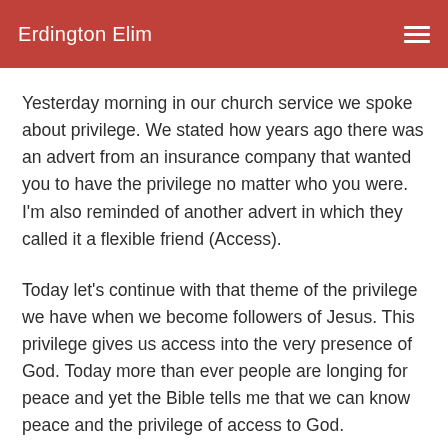Erdington Elim
Yesterday morning in our church service we spoke about privilege. We stated how years ago there was an advert from an insurance company that wanted you to have the privilege no matter who you were. I'm also reminded of another advert in which they called it a flexible friend (Access).
Today let's continue with that theme of the privilege we have when we become followers of Jesus. This privilege gives us access into the very presence of God. Today more than ever people are longing for peace and yet the Bible tells me that we can know peace and the privilege of access to God.
You see I have a bank card. If I ever need to get some money